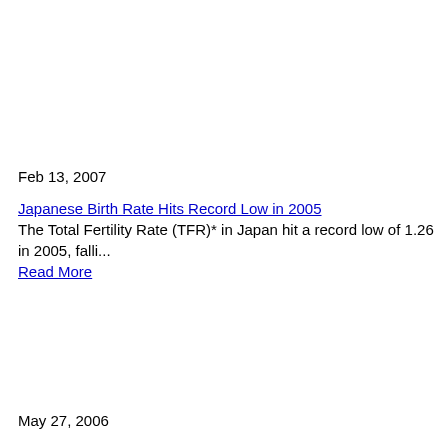Feb 13, 2007
Japanese Birth Rate Hits Record Low in 2005
The Total Fertility Rate (TFR)* in Japan hit a record low of 1.26 in 2005, falli...
Read More
May 27, 2006